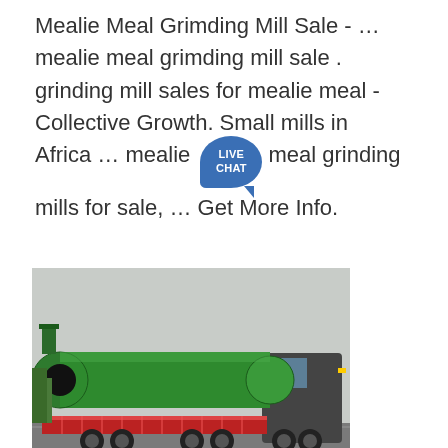Mealie Meal Grimding Mill Sale - … mealie meal grimding mill sale . grinding mill sales for mealie meal - Collective Growth. Small mills in Africa … mealie meal grinding mills for sale, … Get More Info.
[Figure (photo): A large green industrial rotary drum/cylinder being transported on a flatbed semi-truck on a road.]
[Figure (photo): Two cream/white colored industrial hammer mill or crusher machines side by side in a warehouse setting.]